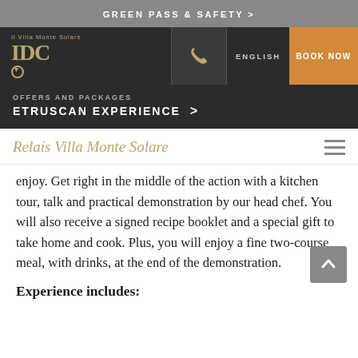GREEN PASS & SAFETY >
[Figure (screenshot): Navigation bar with IDC logo, phone icon, ENGLISH language selector, and BOOK NOW button]
OFFERS AND PACKAGES ETRUSCAN EXPERIENCE >
Relais Villa Monte Solare
enjoy. Get right in the middle of the action with a kitchen tour, talk and practical demonstration by our head chef. You will also receive a signed recipe booklet and a special gift to take home and cook. Plus, you will enjoy a fine two-course meal, with drinks, at the end of the demonstration.
Experience includes: